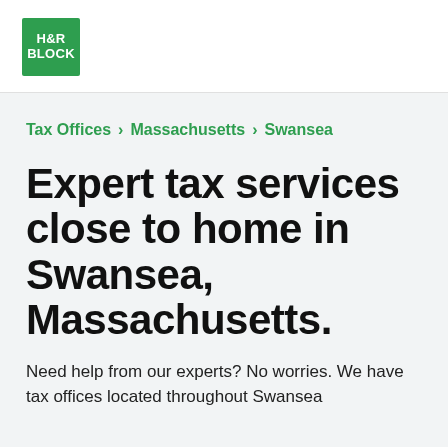[Figure (logo): H&R Block green square logo with white text]
Tax Offices > Massachusetts > Swansea
Expert tax services close to home in Swansea, Massachusetts.
Need help from our experts? No worries. We have tax offices located throughout Swansea